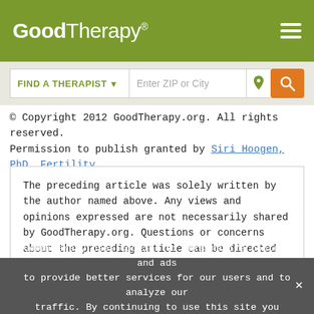GoodTherapy®
FIND A THERAPIST ▾   Enter ZIP or City
© Copyright 2012 GoodTherapy.org. All rights reserved. Permission to publish granted by Siri Hoogen, PhD, Fertility Issues Topic Expert Contributor
The preceding article was solely written by the author named above. Any views and opinions expressed are not necessarily shared by GoodTherapy.org. Questions or concerns about the preceding article can be directed to the author or posted as a comment below.
GoodTherapy uses cookies to personalize content and ads to provide better services for our users and to analyze our traffic. By continuing to use this site you consent to our cookies.